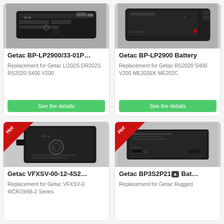[Figure (photo): Getac BP-LP2900/33-01P battery photo top view]
Getac BP-LP2900/33-01P...
Replacement for Getac LI202S DR202S RS2020 S400 V200
See the details
[Figure (photo): Getac BP-LP2900 Battery photo top view]
Getac BP-LP2900 Battery
Replacement for Getac RS2020 S400 V200 ME202EK ME202C
See the details
[Figure (photo): Getac VFXSV-00-12-4S2 battery photo with Hot badge]
Getac VFXSV-00-12-4S2...
Replacement for Getac VFXSV-0 4ICR19/66-2 Series
[Figure (photo): Getac BP3S2P21 battery photo with Hot badge]
Getac BP3S2P21 Bat...
Replacement for Getac Rugged